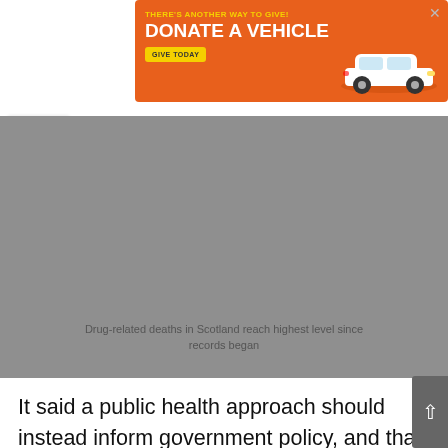[Figure (infographic): Advertisement banner: orange background with white car illustration. Text reads 'THERE'S ANOTHER WAY TO GIVE! DONATE A VEHICLE' with a yellow 'GIVE TODAY' button. Close X in top right.]
[Figure (photo): Gray image placeholder (image failed to load) with caption 'Drug-related deaths in Scotland reach highest level since records began']
Drug-related deaths in Scotland reach highest level since records began
It said a public health approach should instead inform government policy, and that decriminalisation would help challenge key issues when it comes to people